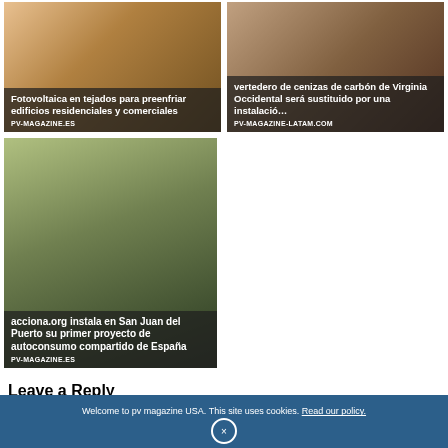[Figure (photo): Article card: solar panels on rooftop with title overlay - Fotovoltaica en tejados para preenfriar edificios residenciales y comerciales, source PV-MAGAZINE.ES]
[Figure (photo): Article card: coal ash / industrial site with title overlay - vertedero de cenizas de carbón de Virginia Occidental será sustituido por una instalació..., source PV-MAGAZINE-LATAM.COM]
[Figure (photo): Article card: aerial view of San Juan del Puerto residential area with solar panels - acciona.org instala en San Juan del Puerto su primer proyecto de autoconsumo compartido de España, source PV-MAGAZINE.ES]
Leave a Reply
Welcome to pv magazine USA. This site uses cookies. Read our policy.